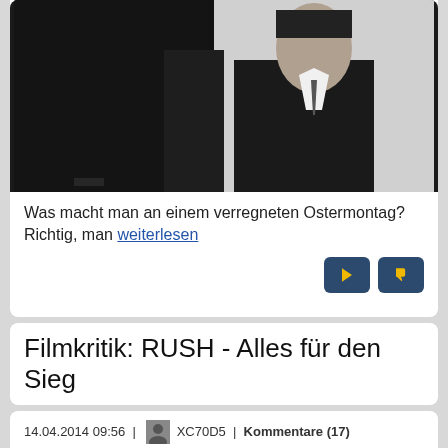[Figure (photo): Black and white photo of two men in dark suits, partially cropped]
Was macht man an einem verregneten Ostermontag? Richtig, man weiterlesen
Filmkritik: RUSH - Alles für den Sieg
14.04.2014 09:56 | XC70D5 | Kommentare (17) | Stichworte: Abenteuer, Abwrackprämie, Augenkrebs, Auto, Bier, big show, Drehzahl, eingepackt, explodiert, Film, Formel 1, Gehabe, Horror, Judgementday, Kino, Leistungssteigerung, Macho, Medien, MOTOR-TALK, Niki Lauda, Nordschleife, Party, Privilege, Rache, Rennen, schlechte Luft, schwer, Sicht, Sponsoring, Sport, Sportwagen, Sprit, Spurverbreiterung, richtig, Tötungsinstinkt, usw., Titelkämpfe, Whiskey, Worldtour, Zeitnot